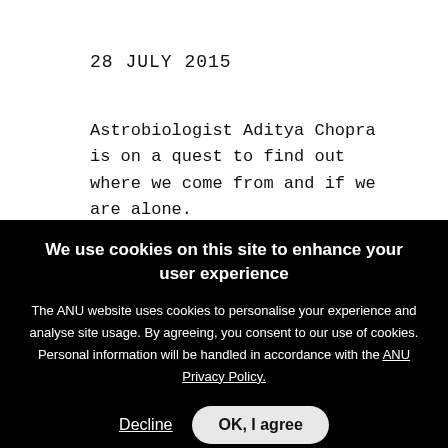28 JULY 2015
Astrobiologist Aditya Chopra is on a quest to find out where we come from and if we are alone.
To support his research he has entered the Australian Academy of Science's Inspire Australia video competition, with a video
We use cookies on this site to enhance your user experience
The ANU website uses cookies to personalise your experience and analyse site usage. By agreeing, you consent to our use of cookies. Personal information will be handled in accordance with the ANU Privacy Policy.
Decline   OK, I agree